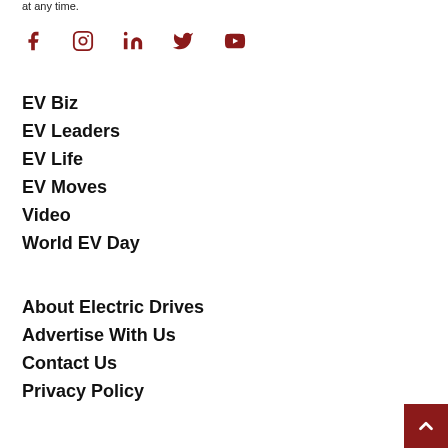at any time.
[Figure (illustration): Social media icons: Facebook, Instagram, LinkedIn, Twitter, YouTube in dark red]
EV Biz
EV Leaders
EV Life
EV Moves
Video
World EV Day
About Electric Drives
Advertise With Us
Contact Us
Privacy Policy